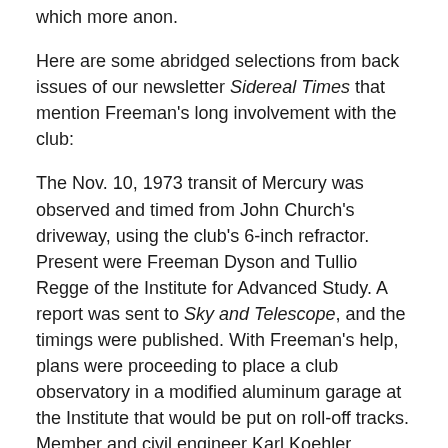which more anon.
Here are some abridged selections from back issues of our newsletter Sidereal Times that mention Freeman's long involvement with the club:
The Nov. 10, 1973 transit of Mercury was observed and timed from John Church's driveway, using the club's 6-inch refractor. Present were Freeman Dyson and Tullio Regge of the Institute for Advanced Study. A report was sent to Sky and Telescope, and the timings were published. With Freeman's help, plans were proceeding to place a club observatory in a modified aluminum garage at the Institute that would be put on roll-off tracks. Member and civil engineer Karl Koehler prepared detailed drawings for the project. This proposal was not adopted due to finding that the Institute would have required construction to be performed by outside labor, which the AAAR could not